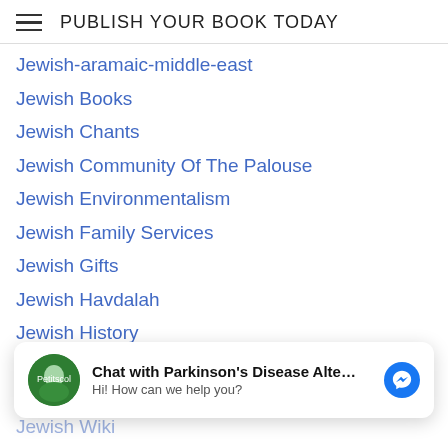PUBLISH YOUR BOOK TODAY
Jewish-aramaic-middle-east
Jewish Books
Jewish Chants
Jewish Community Of The Palouse
Jewish Environmentalism
Jewish Family Services
Jewish Gifts
Jewish Havdalah
Jewish History
Jewish Justices
Jewish Lights
Jewish Malayalam Israel Kerala India
Jewish Music
Jewish Perspectives
[Figure (screenshot): Chat overlay with Parkinson's Disease Alte... bot. Avatar is a circular green icon. Message: Hi! How can we help you? with Facebook Messenger icon.]
Jewish Synagogue
Jewish Wiki